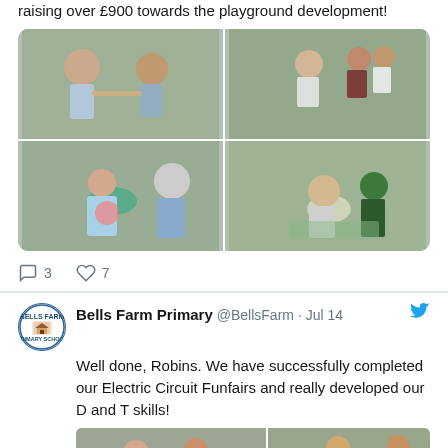raising over £900 towards the playground development!
[Figure (photo): Four photos in a 2x2 grid showing children and adults at an outdoor school event/fair]
3   7
Bells Farm Primary @BellsFarm · Jul 14
Well done, Robins. We have successfully completed our Electric Circuit Funfairs and really developed our D and T skills!
[Figure (photo): Two photos partially visible showing children working on electric circuit activities]